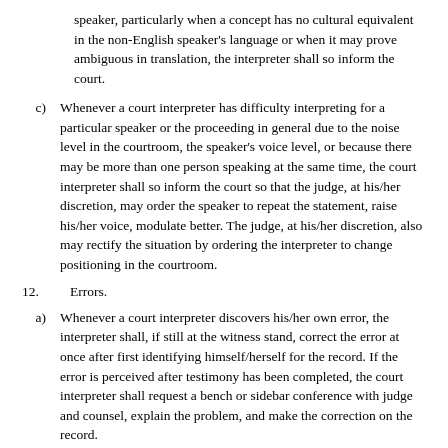speaker, particularly when a concept has no cultural equivalent in the non-English speaker's language or when it may prove ambiguous in translation, the interpreter shall so inform the court.
c) Whenever a court interpreter has difficulty interpreting for a particular speaker or the proceeding in general due to the noise level in the courtroom, the speaker's voice level, or because there may be more than one person speaking at the same time, the court interpreter shall so inform the court so that the judge, at his/her discretion, may order the speaker to repeat the statement, raise his/her voice, modulate better. The judge, at his/her discretion, also may rectify the situation by ordering the interpreter to change positioning in the courtroom.
12. Errors.
a) Whenever a court interpreter discovers his/her own error, the interpreter shall, if still at the witness stand, correct the error at once after first identifying himself/herself for the record. If the error is perceived after testimony has been completed, the court interpreter shall request a bench or sidebar conference with judge and counsel, explain the problem, and make the correction on the record.
b) Whenever an alleged error is perceived by someone other than the court interpreter, that person should, if testimony is still being taken from the stand, bring the allegation to the attention of the court. If the error occurs in a jury trial, the allegation should not be brought to the attention of the jury. A sidebar